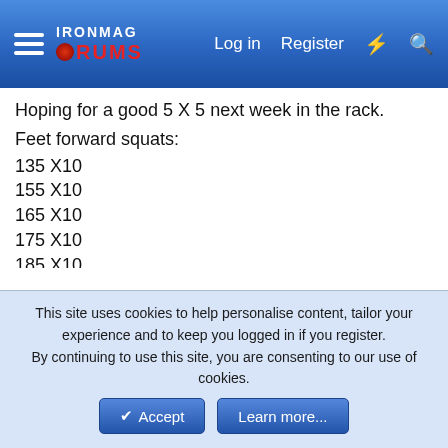IronMag Forums — Log in | Register
Hoping for a good 5 X 5 next week in the rack.
Feet forward squats:
135 X10
155 X10
165 X10
175 X10
185 X10
195 X10
205 X10
215 X10
225 X10
225 X10
seabiscuit hogg
This site uses cookies to help personalise content, tailor your experience and to keep you logged in if you register.
By continuing to use this site, you are consenting to our use of cookies.